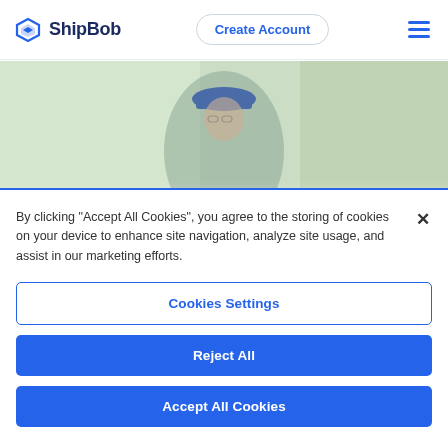ShipBob — Create Account
[Figure (photo): Blurred photo of a delivery person wearing a blue cap, outdoors with green trees in background]
By clicking “Accept All Cookies”, you agree to the storing of cookies on your device to enhance site navigation, analyze site usage, and assist in our marketing efforts.
Cookies Settings
Reject All
Accept All Cookies